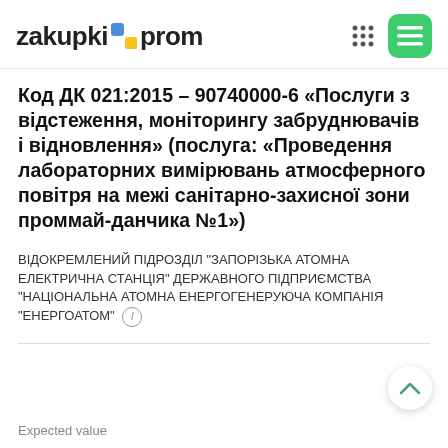zakupki prom
Код ДК 021:2015 - 90740000-6 «Послуги з відстеження, моніторингу забруднювачів і відновлення» (послуга: «Проведення лабораторних вимірювань атмосферного повітря на межі санітарно-захисної зони проммай-данчика №1»)
ВІДОКРЕМЛЕНИЙ ПІДРОЗДІЛ "ЗАПОРІЗЬКА АТОМНА ЕЛЕКТРИЧНА СТАНЦІЯ" ДЕРЖАВНОГО ПІДПРИЄМСТВА "НАЦІОНАЛЬНА АТОМНА ЕНЕРГОГЕНЕРУЮЧА КОМПАНІЯ "ЕНЕРГОАТОМ"
Expected value